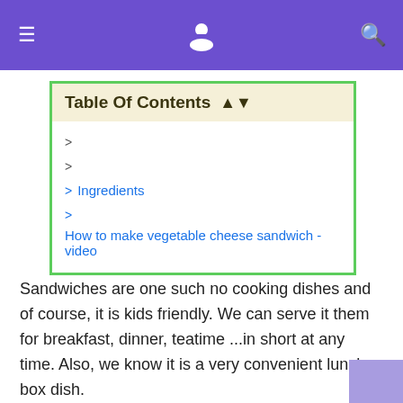≡ [icon] 🔍
Table Of Contents ⬍
>
>
> Ingredients
> How to make vegetable cheese sandwich - video
Sandwiches are one such no cooking dishes and of course, it is kids friendly. We can serve it them for breakfast, dinner, teatime ...in short at any time. Also, we know it is a very convenient lunch box dish.